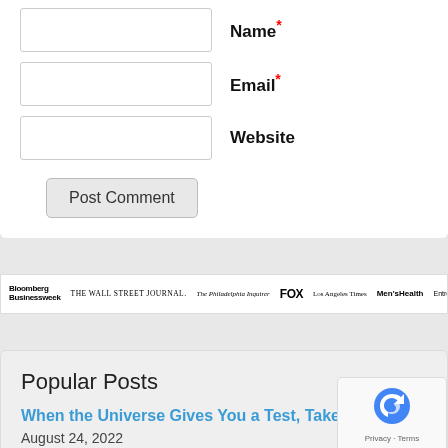Name*
Email*
Website
Post Comment
[Figure (logo): Media logos bar: Bloomberg Businessweek, The Wall Street Journal, The Philadelphia Inquirer, FOX, Los Angeles Times, Men's Health, Entrepreneur]
Popular Posts
When the Universe Gives You a Test, Take It
August 24, 2022